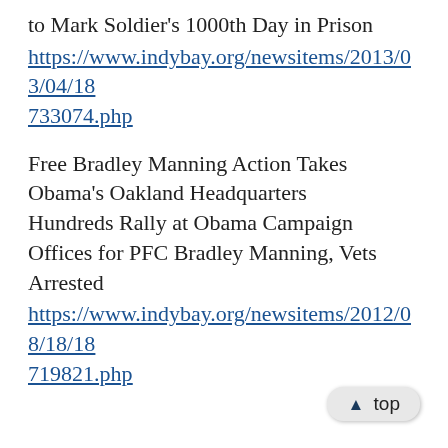to Mark Soldier's 1000th Day in Prison
https://www.indybay.org/newsitems/2013/03/04/18733074.php
Free Bradley Manning Action Takes Obama's Oakland Headquarters
Hundreds Rally at Obama Campaign Offices for PFC Bradley Manning, Vets Arrested
https://www.indybay.org/newsitems/2012/08/18/18719821.php
▲ top
Protest in Santa Cruz as Bradley Manning has Arraignment in Military Court in Maryland